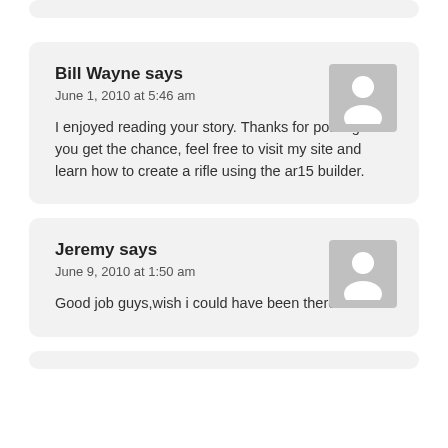Bill Wayne says
June 1, 2010 at 5:46 am
I enjoyed reading your story. Thanks for posting. If you get the chance, feel free to visit my site and learn how to create a rifle using the ar15 builder.
Jeremy says
June 9, 2010 at 1:50 am
Good job guys,wish i could have been there!